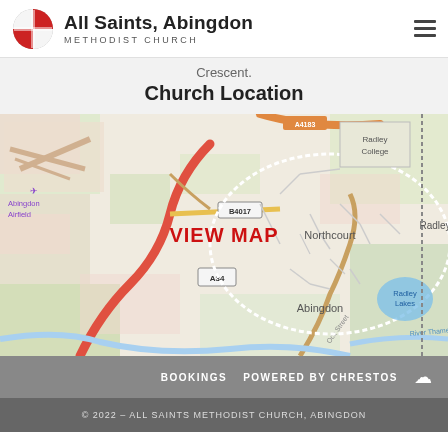All Saints, Abingdon Methodist Church
Crescent.
Church Location
[Figure (map): OpenStreetMap showing Abingdon area with Northcourt, Abingdon town centre, Abingdon Airfield, A34, B4017, Radley, Radley College, Radley Lakes, River Thames. 'VIEW MAP' label in red at centre.]
BOOKINGS   POWERED BY CHRESTOS
© 2022 – ALL SAINTS METHODIST CHURCH, ABINGDON